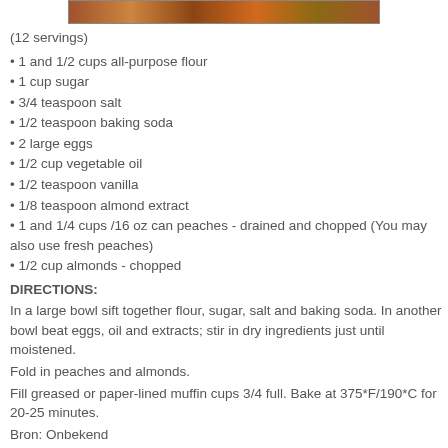[Figure (photo): Top strip showing baked peach muffins photo]
(12 servings)
1 and 1/2 cups all-purpose flour
1 cup sugar
3/4 teaspoon salt
1/2 teaspoon baking soda
2 large eggs
1/2 cup vegetable oil
1/2 teaspoon vanilla
1/8 teaspoon almond extract
1 and 1/4 cups /16 oz can peaches - drained and chopped (You may also use fresh peaches)
1/2 cup almonds - chopped
DIRECTIONS:
In a large bowl sift together flour, sugar, salt and baking soda. In another bowl beat eggs, oil and extracts; stir in dry ingredients just until moistened.
Fold in peaches and almonds.
Fill greased or paper-lined muffin cups 3/4 full. Bake at 375*F/190*C for 20-25 minutes.
Bron: Onbekend